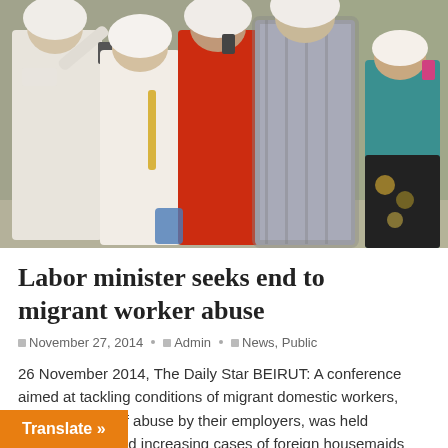[Figure (photo): Group of women in white headscarves and traditional garments, some holding mobile phones, standing outdoors near a stone wall.]
Labor minister seeks end to migrant worker abuse
November 27, 2014   Admin   News, Public
26 November 2014, The Daily Star BEIRUT: A conference aimed at tackling conditions of migrant domestic workers, including risks of abuse by their employers, was held Wednesday, amid increasing cases of foreign housemaids committing suicide in Lebanon. Lab... read more